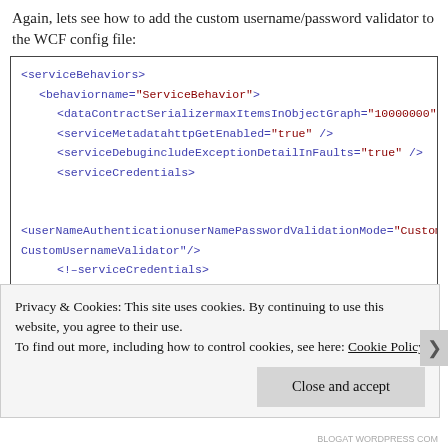Again, lets see how to add the custom username/password validator to the WCF config file:
[Figure (screenshot): Code block showing XML WCF configuration with serviceBehaviors, behaviorname, dataContractSerializer, serviceMetadata, serviceDebug, serviceCredentials, userNameAuthentication, and closing serviceCredentials tags]
Privacy & Cookies: This site uses cookies. By continuing to use this website, you agree to their use.
To find out more, including how to control cookies, see here: Cookie Policy
Close and accept